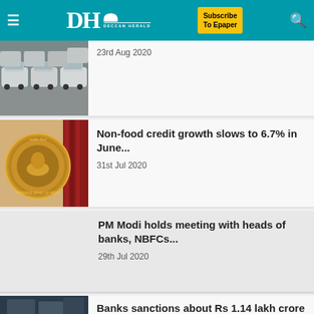DH DECCAN HERALD | Subscribe To Epaper
23rd Aug 2020
[Figure (photo): Row of white cars parked in a lot]
Non-food credit growth slows to 6.7% in June...
31st Jul 2020
[Figure (photo): Reserve Bank of India seal/emblem on a wall]
PM Modi holds meeting with heads of banks, NBFCs...
29th Jul 2020
Banks sanctions about Rs 1.14 lakh crore
[Figure (photo): Partial image of people in a bank setting]